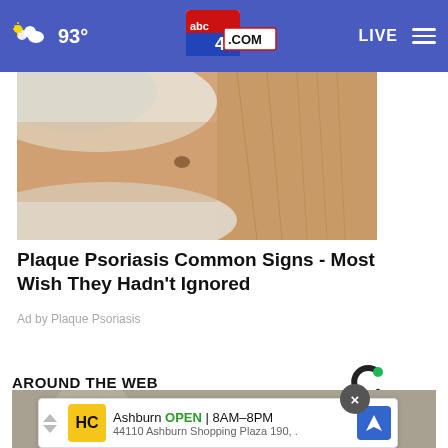abc4.COM — 93° — LIVE
[Figure (photo): Close-up of a gloved hand examining a mole or skin lesion on a person's back near blonde hair]
Plaque Psoriasis Common Signs - Most Wish They Hadn't Ignored
Ad by Plaque Psoriasis
AROUND THE WEB
[Figure (photo): Bottom partial image area with ad banner overlay showing: Ashburn OPEN 8AM–8PM 44110 Ashburn Shopping Plaza 190,..]
Ashburn OPEN 8AM–8PM 44110 Ashburn Shopping Plaza 190,.